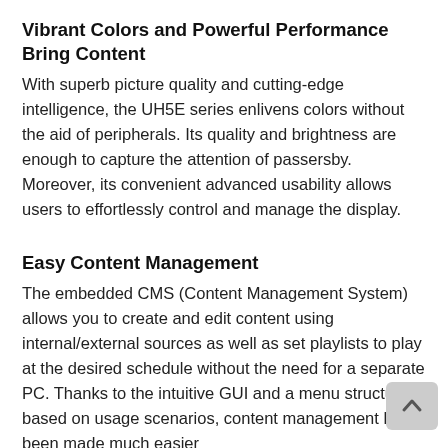Vibrant Colors and Powerful Performance Bring Content
With superb picture quality and cutting-edge intelligence, the UH5E series enlivens colors without the aid of peripherals. Its quality and brightness are enough to capture the attention of passersby. Moreover, its convenient advanced usability allows users to effortlessly control and manage the display.
Easy Content Management
The embedded CMS (Content Management System) allows you to create and edit content using internal/external sources as well as set playlists to play at the desired schedule without the need for a separate PC. Thanks to the intuitive GUI and a menu structure based on usage scenarios, content management has been made much easier